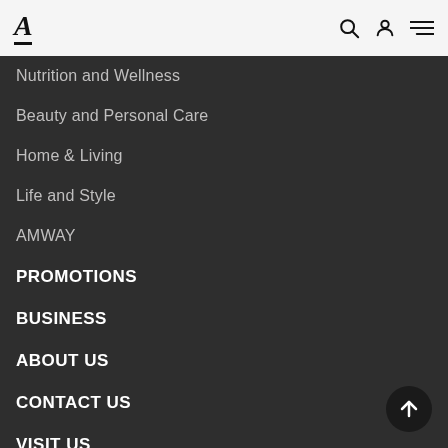A [logo] with search, account, and menu icons
Nutrition and Wellness
Beauty and Personal Care
Home & Living
Life and Style
AMWAY
PROMOTIONS
BUSINESS
ABOUT US
CONTACT US
VISIT US
[Figure (illustration): Facebook and Instagram social media icons]
[Figure (illustration): Back to top arrow button]